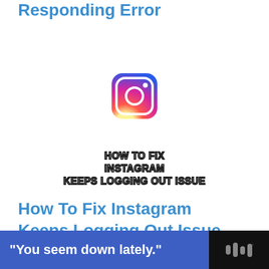Responding Error
[Figure (logo): Instagram logo icon — rounded square with gradient (purple to orange) and white camera outline]
[Figure (infographic): Text overlay reading: HOW TO FIX INSTAGRAM KEEPS LOGGING OUT ISSUE in bold white text with dark stroke]
How To Fix Instagram Keeps Logging Out Issue
[Figure (infographic): Advertisement banner at bottom: dark background, blue rectangle with white bold text '"You seem down lately."' and a logo icon on the right side]